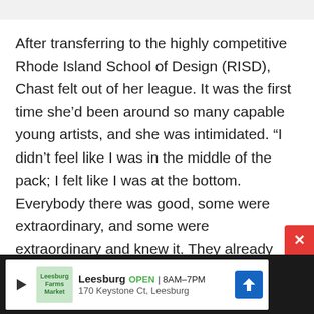After transferring to the highly competitive Rhode Island School of Design (RISD), Chast felt out of her league. It was the first time she'd been around so many capable young artists, and she was intimidated. “I didn’t feel like I was in the middle of the pack; I felt like I was at the bottom. Everybody there was good, some were extraordinary, and some were extraordinary and knew it. They already knew who they were and how they wanted to dress. I didn’t even know how to pick out my own clothes. And, yeah, maybe they were just as lost as I was, but I don’t think so.”
[Figure (other): Advertisement bar at bottom: Leesburg OPEN 8AM-7PM, 170 Keystone Ct, Leesburg, with navigation icon]